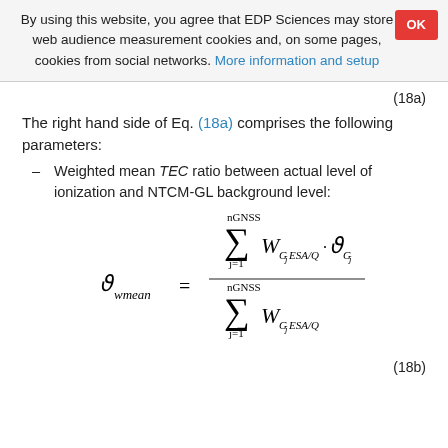By using this website, you agree that EDP Sciences may store web audience measurement cookies and, on some pages, cookies from social networks. More information and setup
(18a)
The right hand side of Eq. (18a) comprises the following parameters:
– Weighted mean TEC ratio between actual level of ionization and NTCM-GL background level:
(18b)